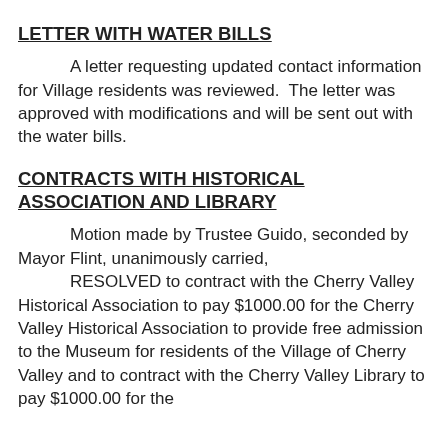LETTER WITH WATER BILLS
A letter requesting updated contact information for Village residents was reviewed.  The letter was approved with modifications and will be sent out with the water bills.
CONTRACTS WITH HISTORICAL ASSOCIATION AND LIBRARY
Motion made by Trustee Guido, seconded by Mayor Flint, unanimously carried,
      RESOLVED to contract with the Cherry Valley Historical Association to pay $1000.00 for the Cherry Valley Historical Association to provide free admission to the Museum for residents of the Village of Cherry Valley and to contract with the Cherry Valley Library to pay $1000.00 for the